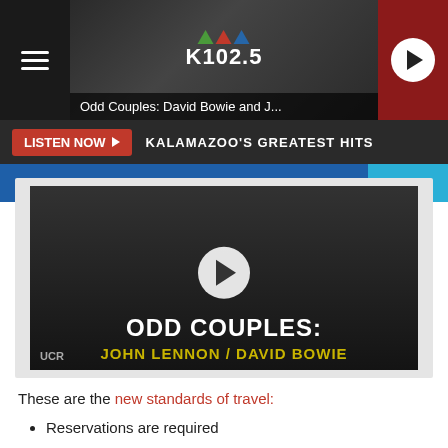[Figure (screenshot): K102.5 radio station app header with hamburger menu, video thumbnail showing 'Odd Couples: John Lennon / David Bowie', K102.5 logo with colored triangles, red play button, Listen Now button, and station tagline KALAMAZOO'S GREATEST HITS]
These are the new standards of travel:
Reservations are required
Cashless service has been implemented in stations and on all trains
Trains are booking at less than 50% capacity to allow for social distancing
Amtrak is requiring that all customers in stations and on trains wear facial coverings
Enhanced cleaning protocols are being followed by